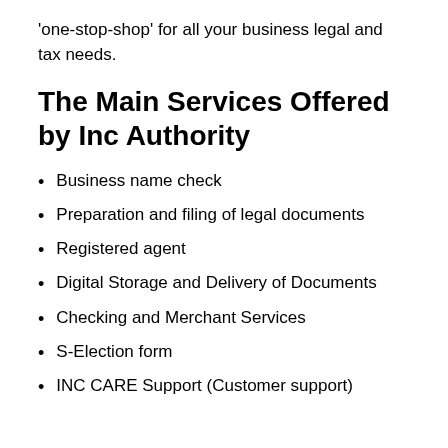'one-stop-shop' for all your business legal and tax needs.
The Main Services Offered by Inc Authority
Business name check
Preparation and filing of legal documents
Registered agent
Digital Storage and Delivery of Documents
Checking and Merchant Services
S-Election form
INC CARE Support (Customer support)